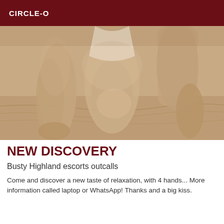CIRCLE-O
[Figure (photo): Sepia-toned close-up photograph of a person kneeling on a bed or soft surface, showing legs and torso in an intimate pose]
NEW DISCOVERY
Busty Highland escorts outcalls
Come and discover a new taste of relaxation, with 4 hands... More information called laptop or WhatsApp! Thanks and a big kiss.